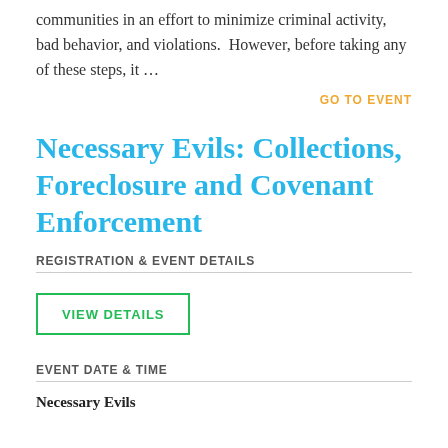communities in an effort to minimize criminal activity, bad behavior, and violations.  However, before taking any of these steps, it …
GO TO EVENT
Necessary Evils: Collections, Foreclosure and Covenant Enforcement
REGISTRATION & EVENT DETAILS
VIEW DETAILS
EVENT DATE & TIME
Necessary Evils